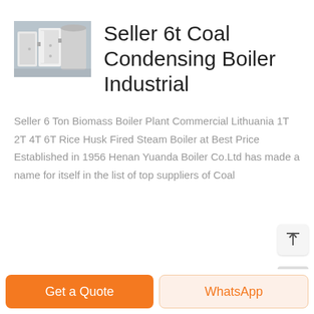[Figure (photo): Industrial boiler equipment photograph showing metal boiler units in a facility]
Seller 6t Coal Condensing Boiler Industrial
Seller 6 Ton Biomass Boiler Plant Commercial Lithuania 1T 2T 4T 6T Rice Husk Fired Steam Boiler at Best Price Established in 1956 Henan Yuanda Boiler Co.Ltd has made a name for itself in the list of top suppliers of Coal
Get a Quote
WhatsApp